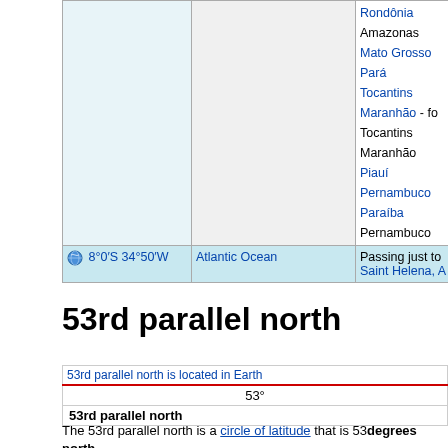|  |  |  |
| --- | --- | --- |
|  |  | Rondonia
Amazonas
Mato Grosso
ParA
Tocantins
Maranhao - fo
Tocantins
Maranhao
PiauI
Pernambuco
Paraiba
Pernambuco |
| 8°0′S 34°50′W | Atlantic Ocean | Passing just to...
Saint Helena, A... |
53rd parallel north
[Figure (other): 53rd parallel north is located in Earth - locator map image]
| 53° |
| 53rd parallel north |
The 53rd parallel north is a circle of latitude that is 53 degrees north...